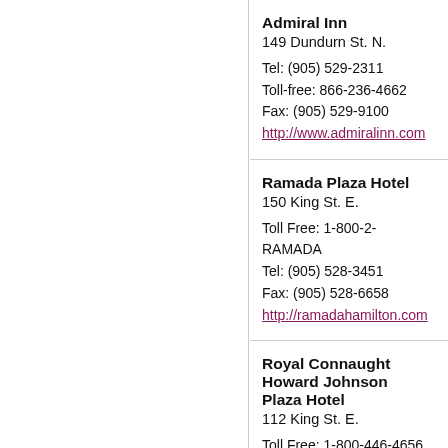Admiral Inn
149 Dundurn St. N.

Tel: (905) 529-2311
Toll-free: 866-236-4662
Fax: (905) 529-9100
http://www.admiralinn.com
Ramada Plaza Hotel
150 King St. E.

Toll Free: 1-800-2-RAMADA
Tel: (905) 528-3451
Fax: (905) 528-6658
http://ramadahamilton.com
Royal Connaught Howard Johnson Plaza Hotel
112 King St. E.

Toll Free: 1-800-446-4656
Tel: (905) 546-8111
Fax: (905) 546-8144
www.the.hojo.com/hamilton02514/pa